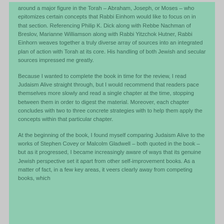around a major figure in the Torah – Abraham, Joseph, or Moses – who epitomizes certain concepts that Rabbi Einhorn would like to focus on in that section. Referencing Philip K. Dick along with Rebbe Nachman of Breslov, Marianne Williamson along with Rabbi Yitzchok Hutner, Rabbi Einhorn weaves together a truly diverse array of sources into an integrated plan of action with Torah at its core. His handling of both Jewish and secular sources impressed me greatly.
Because I wanted to complete the book in time for the review, I read Judaism Alive straight through, but I would recommend that readers pace themselves more slowly and read a single chapter at the time, stopping between them in order to digest the material. Moreover, each chapter concludes with two to three concrete strategies with to help them apply the concepts within that particular chapter.
At the beginning of the book, I found myself comparing Judaism Alive to the works of Stephen Covey or Malcolm Gladwell – both quoted in the book – but as it progressed, I became increasingly aware of ways that its genuine Jewish perspective set it apart from other self-improvement books. As a matter of fact, in a few key areas, it veers clearly away from competing books, which